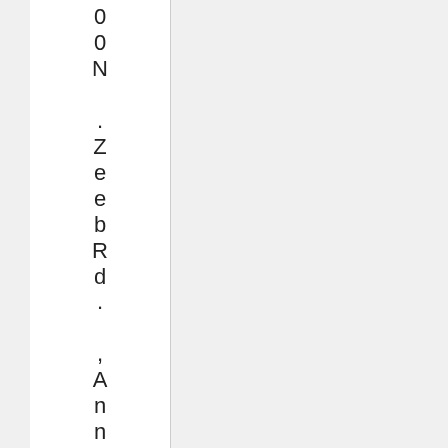00N .ZeebRd. ,AnnArbor ,MI48106